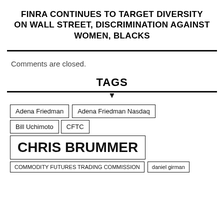FINRA CONTINUES TO TARGET DIVERSITY ON WALL STREET, DISCRIMINATION AGAINST WOMEN, BLACKS
Comments are closed.
TAGS
Adena Friedman
Adena Friedman Nasdaq
Bill Uchimoto
CFTC
CHRIS BRUMMER
COMMODITY FUTURES TRADING COMMISSION
daniel girman